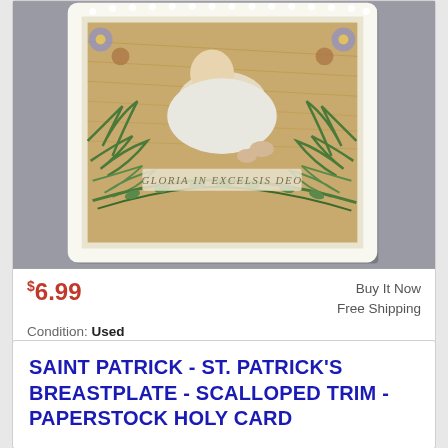[Figure (photo): Vintage holy card showing Baby Jesus lying in straw, surrounded by floral and fern border with scalloped white trim. Text on card reads 'GLORIA IN EXCELSIS DEO']
$6.99   Buy It Now   Free Shipping   Condition: Used   Location: Parkville, United States
SAINT PATRICK - ST. PATRICK'S BREASTPLATE - SCALLOPED TRIM - PAPERSTOCK HOLY CARD